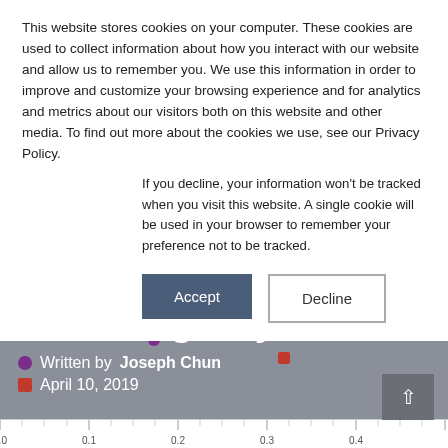This website stores cookies on your computer. These cookies are used to collect information about how you interact with our website and allow us to remember you. We use this information in order to improve and customize your browsing experience and for analytics and metrics about our visitors both on this website and other media. To find out more about the cookies we use, see our Privacy Policy.
If you decline, your information won't be tracked when you visit this website. A single cookie will be used in your browser to remember your preference not to be tracked.
Accept
Decline
From Your Digital Marketing Guy
Written by Joseph Chun
April 10, 2019